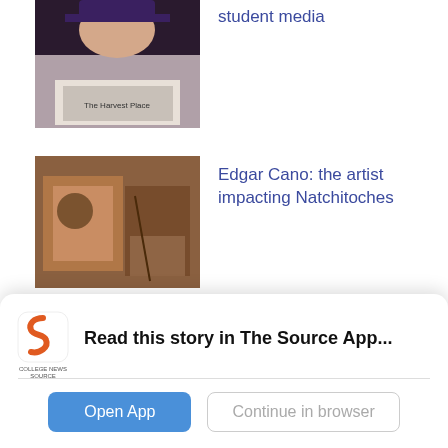[Figure (photo): Person in graduation cap holding a newspaper, partially visible at top]
student media
[Figure (photo): Edgar Cano artwork display in gallery setting]
Edgar Cano: the artist impacting Natchitoches
[Figure (photo): Edgar Cano artwork display in gallery setting (duplicate)]
Edgar Cano: el artista que impacta a Natchitoches
[Figure (photo): Dark image partially visible at bottom, related to Decriminalization article]
Decriminalization versus legalization
[Figure (logo): College News Source logo - letter S in orange/red]
Read this story in The Source App...
Open App
Continue in browser